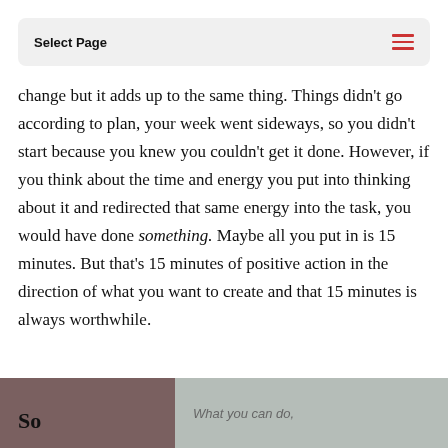Select Page
change but it adds up to the same thing. Things didn't go according to plan, your week went sideways, so you didn't start because you knew you couldn't get it done. However, if you think about the time and energy you put into thinking about it and redirected that same energy into the task, you would have done something. Maybe all you put in is 15 minutes. But that's 15 minutes of positive action in the direction of what you want to create and that 15 minutes is always worthwhile.
[Figure (photo): Partial photo of a person with glasses on the left, and overlaid text reading 'What you can do,' on a grey/green background]
So